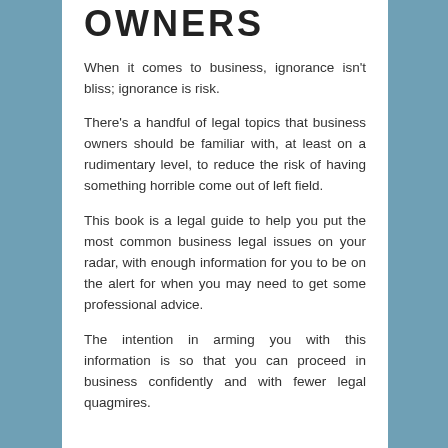OWNERS
When it comes to business, ignorance isn't bliss; ignorance is risk.
There's a handful of legal topics that business owners should be familiar with, at least on a rudimentary level, to reduce the risk of having something horrible come out of left field.
This book is a legal guide to help you put the most common business legal issues on your radar, with enough information for you to be on the alert for when you may need to get some professional advice.
The intention in arming you with this information is so that you can proceed in business confidently and with fewer legal quagmires.